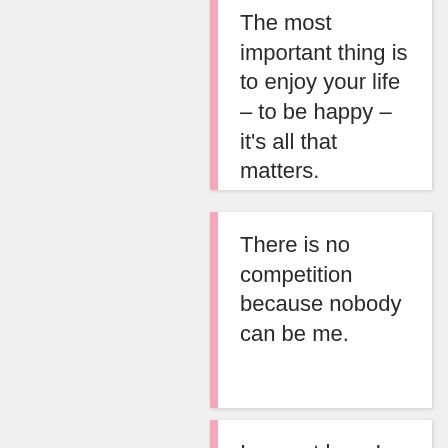The most important thing is to enjoy your life – to be happy – it's all that matters.
There is no competition because nobody can be me.
I am not lazy, I